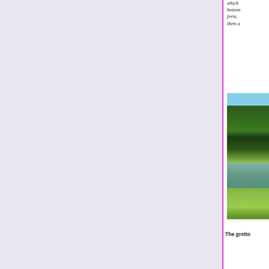which bottom form, them a
[Figure (photo): Outdoor landscape photograph showing green trees, grassland, and a body of water or pond in the foreground, taken on a bright day.]
The grotto